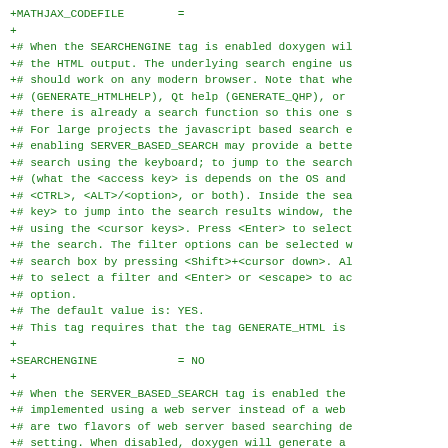+MATHJAX_CODEFILE        =
+
+# When the SEARCHENGINE tag is enabled doxygen wil
+# the HTML output. The underlying search engine us
+# should work on any modern browser. Note that whe
+# (GENERATE_HTMLHELP), Qt help (GENERATE_QHP), or
+# there is already a search function so this one s
+# For large projects the javascript based search e
+# enabling SERVER_BASED_SEARCH may provide a bette
+# search using the keyboard; to jump to the search
+# (what the <access key> is depends on the OS and
+# <CTRL>, <ALT>/<option>, or both). Inside the sea
+# key> to jump into the search results window, the
+# using the <cursor keys>. Press <Enter> to select
+# the search. The filter options can be selected w
+# search box by pressing <Shift>+<cursor down>. Al
+# to select a filter and <Enter> or <escape> to ac
+# option.
+# The default value is: YES.
+# This tag requires that the tag GENERATE_HTML is
+
+SEARCHENGINE            = NO
+
+# When the SERVER_BASED_SEARCH tag is enabled the
+# implemented using a web server instead of a web
+# are two flavors of web server based searching de
+# setting. When disabled, doxygen will generate a
+# an index file used by the script. When EXTERNAL_
+# and searching needs to be provided by external t
+# "External Indexing and Searching" for details.